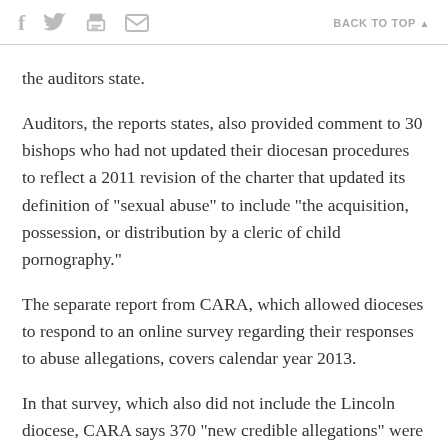f [twitter] [print] [email]   BACK TO TOP ▲
the auditors state.
Auditors, the reports states, also provided comment to 30 bishops who had not updated their diocesan procedures to reflect a 2011 revision of the charter that updated its definition of "sexual abuse" to include "the acquisition, possession, or distribution by a cleric of child pornography."
The separate report from CARA, which allowed dioceses to respond to an online survey regarding their responses to abuse allegations, covers calendar year 2013.
In that survey, which also did not include the Lincoln diocese, CARA says 370 "new credible allegations" were reported against diocesan clergy in 2013.
The CARA survey states that 365 individuals made